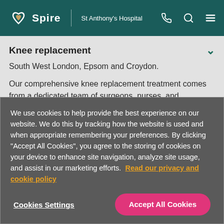Spire | St Anthony's Hospital
Knee replacement
South West London, Epsom and Croydon.
Our comprehensive knee replacement treatment comes from a dedicated team of surgeons, nurses, and physiotherapists. Your team will tailor a knee replacement
We use cookies to help provide the best experience on our website. We do this by tracking how the website is used and when appropriate remembering your preferences. By clicking "Accept All Cookies", you agree to the storing of cookies on your device to enhance site navigation, analyze site usage, and assist in our marketing efforts. Read our privacy and cookie policy
Cookies Settings
Accept All Cookies